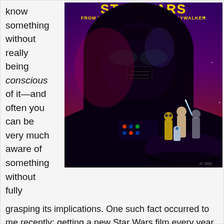know something without really being conscious of it—and often you can be very much aware of something without fully
[Figure (illustration): Star Wars book cover featuring Darth Vader's helmet prominently, with Luke Skywalker and other characters below. Text reads 'STAR WARS FROM THE ADVENTURES OF LUKE SKYWALKER' in yellow on a purple and red background.]
grasping its implications. One such fact occurred to me recently: getting a new Star Wars film every year means that there is every reason to believe that we will also be getting one film novelization every year.